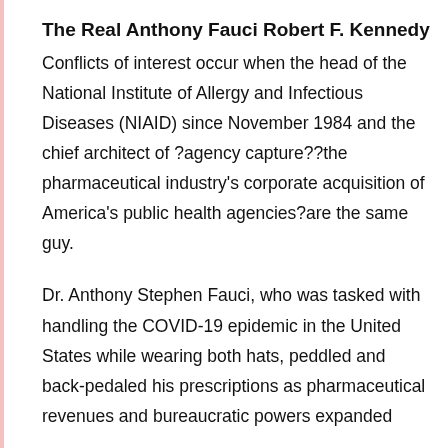The Real Anthony Fauci Robert F. Kennedy
Conflicts of interest occur when the head of the National Institute of Allergy and Infectious Diseases (NIAID) since November 1984 and the chief architect of ?agency capture??the pharmaceutical industry's corporate acquisition of America's public health agencies?are the same guy.
Dr. Anthony Stephen Fauci, who was tasked with handling the COVID-19 epidemic in the United States while wearing both hats, peddled and back-pedaled his prescriptions as pharmaceutical revenues and bureaucratic powers expanded